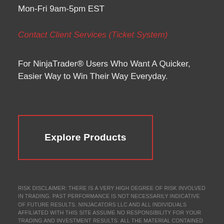Mon-Fri 9am-5pm EST
Contact Client Services (Ticket System)
For NinjaTrader® Users Who Want A Quicker, Easier Way to Win Their Way Everyday.
Explore Products
RISK DISCLAIMER: THERE IS A VERY HIGH DEGREE OF RISK INVOLVED IN TRADING. PAST PERFORMANCE IS NOT NECESSARILY INDICATIVE OF FUTURE RESULTS. NINJACATORS LLC AND ALL INDIVIDUALS AFFILIATED WITH THIS SITE ASSUME NO RESPONSIBILITY FOR YOUR TRADING AND INVESTMENT RESULTS. ALL THE MATERIAL CONTAINED HEREIN IS BELIEVED TO BE CORRECT, HOWEVER, NINJACATORS LLC WILL NOT BE HELD RESPONSIBLE FOR ACCIDENTAL OVERSIGHTS, TYPOS, OR INCORRECT INFORMATION FROM SOURCES THAT GENERATE